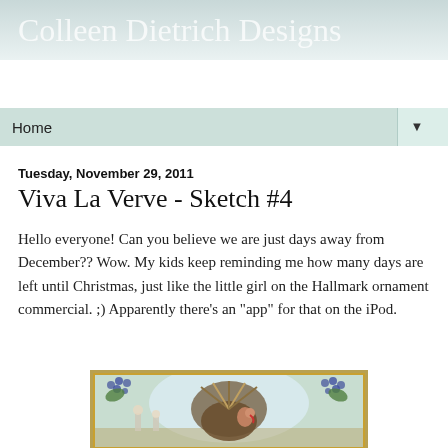Colleen Dietrich Designs
Viva La Verve - Sketch #4
Tuesday, November 29, 2011
Hello everyone!  Can you believe we are just days away from December??  Wow.  My kids keep reminding me how many days are left until Christmas, just like the little girl on the Hallmark ornament commercial.   ;)  Apparently there's an "app" for that on the iPod.
[Figure (illustration): Vintage postcard illustration showing a turkey with decorative grape vine border elements on a light blue-green background with a gold/tan ornate border.]